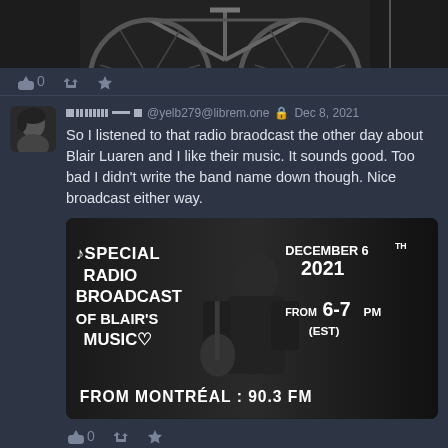[Figure (photo): Partial view of a bicycle wheel and frame in black and white, cropped at the top of the page]
0 (reply icon) (retweet icon) (star icon)
@yelb279@librem.one Dec 8, 2021
So I listened to that radio braodcast the other day about Blair Luaren and I like their music. It sounds good. Too bad I didn't write the band name down though. Nice broadcast either way.
[Figure (photo): Black and white promotional image for Special Radio Broadcast of Blair's Music, DECEMBER 6TH 2021, FROM 6-7 PM (EST), FROM MONTREAL : 90.3 FM]
0 (reply icon) (retweet icon) (star icon)